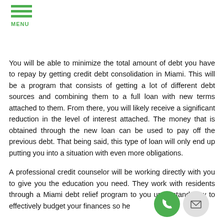MENU
You will be able to minimize the total amount of debt you have to repay by getting credit debt consolidation in Miami. This will be a program that consists of getting a lot of different debt sources and combining them to a full loan with new terms attached to them. From there, you will likely receive a significant reduction in the level of interest attached. The money that is obtained through the new loan can be used to pay off the previous debt. That being said, this type of loan will only end up putting you into a situation with even more obligations.
A professional credit counselor will be working directly with you to give you the education you need. They work with residents through a Miami debt relief pro... to you understand how to effectively budget your finances so he...